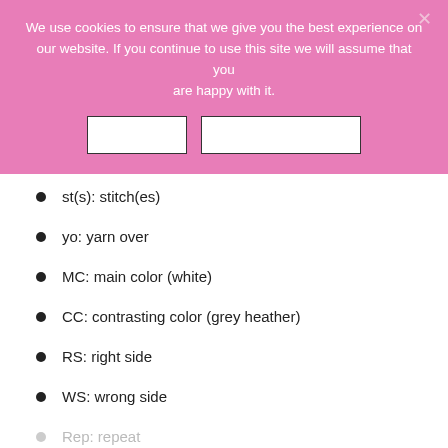We use cookies to ensure that we give you the best experience on our website. If you continue to use this site we will assume that you are happy with it.
st(s): stitch(es)
yo: yarn over
MC: main color (white)
CC: contrasting color (grey heather)
RS: right side
WS: wrong side
Rep: repeat